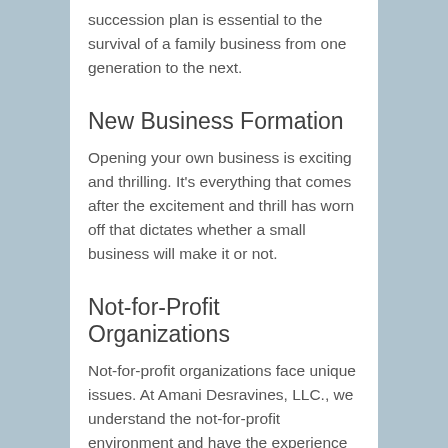succession plan is essential to the survival of a family business from one generation to the next.
New Business Formation
Opening your own business is exciting and thrilling. It's everything that comes after the excitement and thrill has worn off that dictates whether a small business will make it or not.
Not-for-Profit Organizations
Not-for-profit organizations face unique issues. At Amani Desravines, LLC., we understand the not-for-profit environment and have the experience to assist your organization.